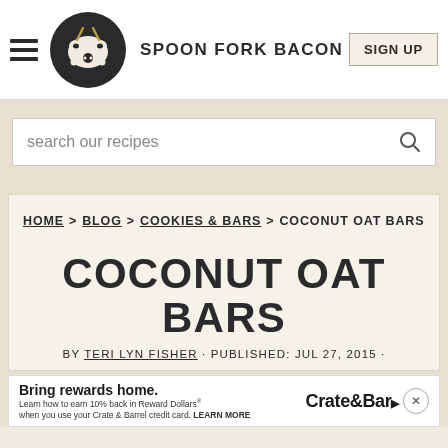SPOON FORK BACON | SIGN UP
search our recipes
HOME > BLOG > COOKIES & BARS > COCONUT OAT BARS
COCONUT OAT BARS
BY TERI LYN FISHER · PUBLISHED: JUL 27, 2015 ·
[Figure (screenshot): Crate & Barrel advertisement banner: 'Bring rewards home. Learn how to earn 10% back in Reward Dollars when you use your Crate & Barrel credit card. LEARN MORE']